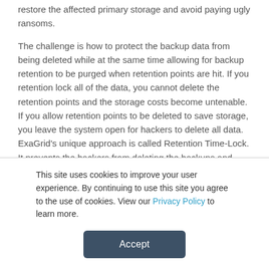restore the affected primary storage and avoid paying ugly ransoms.
The challenge is how to protect the backup data from being deleted while at the same time allowing for backup retention to be purged when retention points are hit. If you retention lock all of the data, you cannot delete the retention points and the storage costs become untenable. If you allow retention points to be deleted to save storage, you leave the system open for hackers to delete all data. ExaGrid’s unique approach is called Retention Time-Lock. It prevents the hackers from deleting the backups and allows for retention points to be purged. The result is a strong data protection and recovery solution at a very low additional cost of ExaGrid storage.
This site uses cookies to improve your user experience. By continuing to use this site you agree to the use of cookies. View our Privacy Policy to learn more.